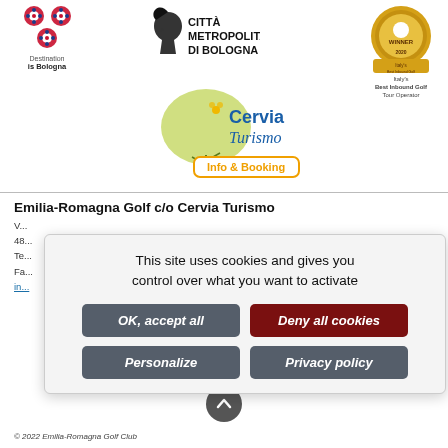[Figure (logo): Destination is Bologna logo with red decorative circles]
[Figure (logo): Città Metropolitana di Bologna logo with lion emblem]
[Figure (logo): World Golf Award 2020 Winner - Italy's Best Inbound Golf Tour Operator badge]
[Figure (logo): Cervia Turismo Info & Booking logo with leaf and flower design]
Emilia-Romagna Golf c/o Cervia Turismo
V...
48...
Te...
Fa...
in...
This site uses cookies and gives you control over what you want to activate
OK, accept all
Deny all cookies
Personalize
Privacy policy
© 2022 Emilia-Romagna Golf Club